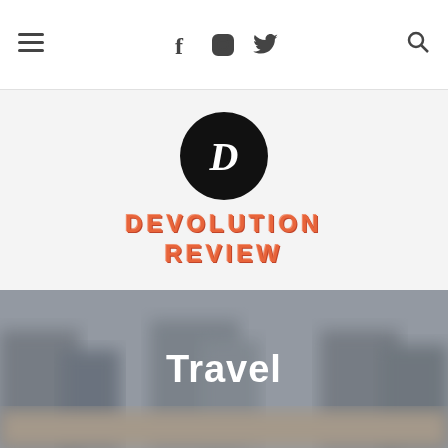Navigation bar with hamburger menu, social icons (Facebook, Instagram, Twitter), and search icon
[Figure (logo): Devolution Review logo: black circle with white italic D letter, and orange embossed text 'DEVOLUTION REVIEW' below on light grey background]
Travel
[Figure (photo): Blurred outdoor/travel scene serving as hero background behind the Travel heading]